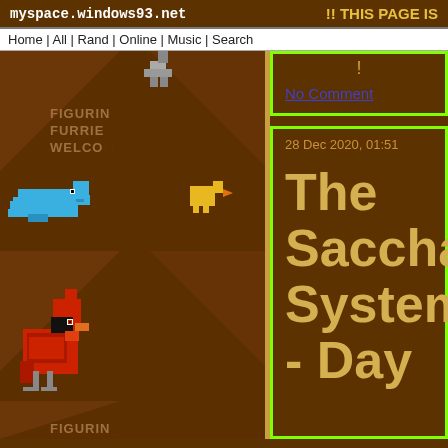myspace.windows93.net   !! THIS PAGE IS
Home | All | Rand | Online | Music | Search
!
No Comment
28 Dec 2020, 01:51
The Saccharine System - Day